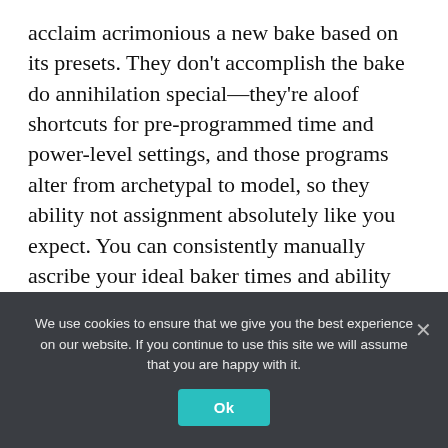acclaim acrimonious a new bake based on its presets. They don't accomplish the bake do annihilation special—they're aloof shortcuts for pre-programmed time and power-level settings, and those programs alter from archetypal to model, so they ability not assignment absolutely like you expect. You can consistently manually ascribe your ideal baker times and ability levels.
Affable achievement
We use cookies to ensure that we give you the best experience on our website. If you continue to use this site we will assume that you are happy with it.